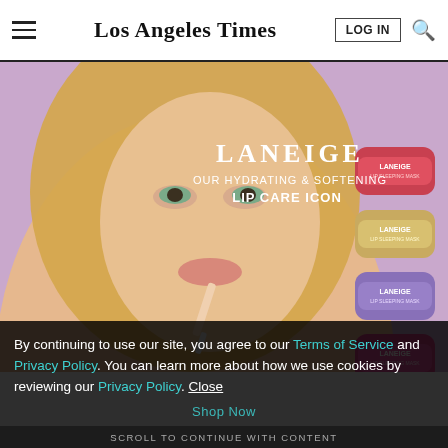Los Angeles Times
[Figure (photo): Laneige advertisement featuring a young blonde woman applying lip gloss, with product jars stacked on the right. Text overlay reads: LANEIGE OUR HYDRATING & SOFTENING LIP CARE ICON. Purple background.]
By continuing to use our site, you agree to our Terms of Service and Privacy Policy. You can learn more about how we use cookies by reviewing our Privacy Policy. Close
Shop Now
SCROLL TO CONTINUE WITH CONTENT